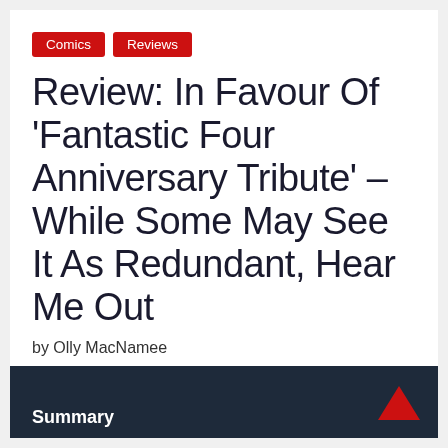Comics | Reviews
Review: In Favour Of 'Fantastic Four Anniversary Tribute' – While Some May See It As Redundant, Hear Me Out
by Olly MacNamee
Summary